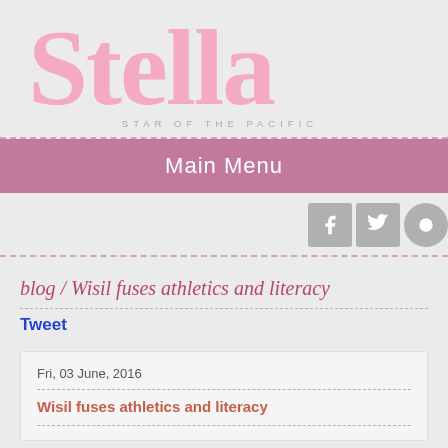Stella — Star of the Pacific
Main Menu
blog / Wisil fuses athletics and literacy
Tweet
Fri, 03 June, 2016
Wisil fuses athletics and literacy